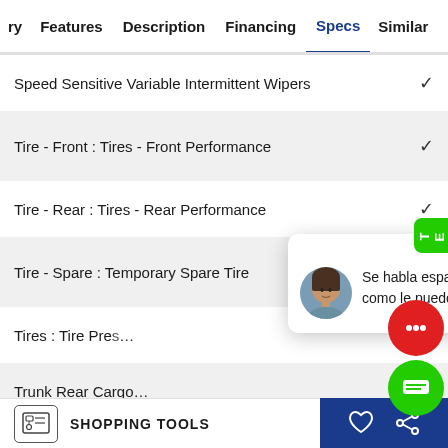ry  Features  Description  Financing  Specs  Similar
Speed Sensitive Variable Intermittent Wipers ✓
Tire - Front : Tires - Front Performance ✓
Tire - Rear : Tires - Rear Performance ✓
Tire - Spare : Temporary Spare Tire  close
Tires : Tire Pres…
Trunk Rear Cargo…
[Figure (screenshot): Chat popup with woman avatar and text 'Se habla espanol, como le puedo ayuda?' with close button]
TEXT US!
SHOPPING TOOLS